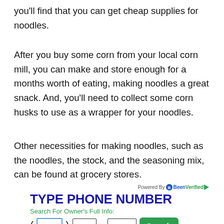you'll find that you can get cheap supplies for noodles.
After you buy some corn from your local corn mill, you can make and store enough for a months worth of eating, making noodles a great snack. And, you'll need to collect some corn husks to use as a wrapper for your noodles.
Other necessities for making noodles, such as the noodles, the stock, and the seasoning mix, can be found at grocery stores.
[Figure (other): BeenVerified advertisement widget with TYPE PHONE NUMBER header, Search For Owner's Full Info label, phone number input fields (area code, prefix, line number), and a green Search button.]